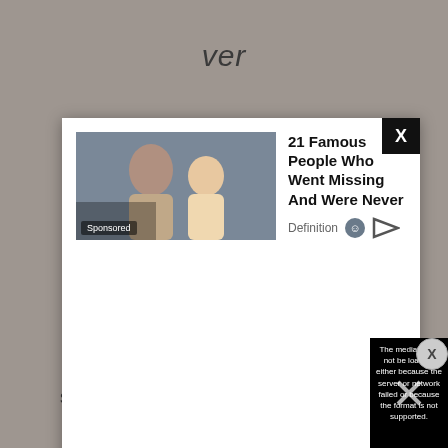ver
[Figure (screenshot): Advertisement popup showing '21 Famous People Who Went Missing And Were Never' with a sponsored photo of people and Definition source label with icons]
[Figure (screenshot): Black video player error message: 'The media could not be loaded, either because the server or network failed or because the format is not supported.' with X overlay]
sura
[Figure (screenshot): Bottom advertisement banner for BitLife - Life Simulator app with Install button and Ad label]